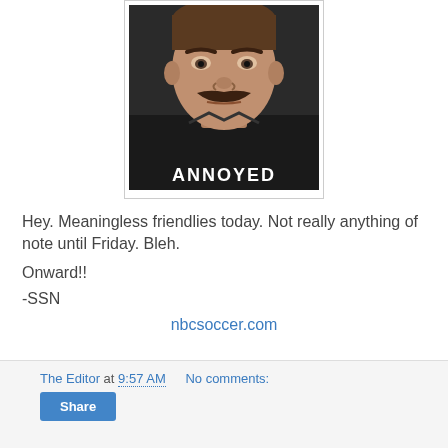[Figure (photo): Man with mustache wearing a black t-shirt with the word ANNOYED printed on it, looking annoyed/stern. Photo is centered and enclosed in a light border.]
Hey. Meaningless friendlies today. Not really anything of note until Friday. Bleh.
Onward!!
-SSN
nbcsoccer.com
The Editor at 9:57 AM   No comments:   Share